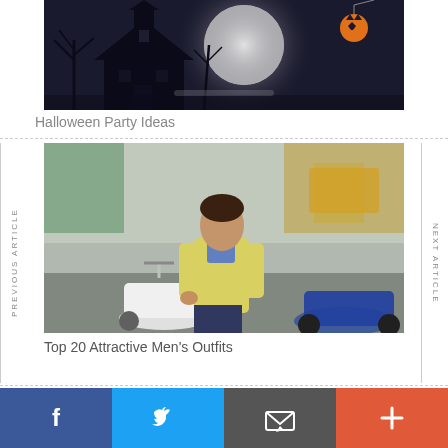[Figure (photo): Halloween themed image with dark haunted house silhouette, bare trees, full moon, and jack-o-lantern against dark/grey background]
Halloween Party Ideas
[Figure (photo): Young man in yellow cardigan and blue shirt looking down at white scooter/moped on a busy city street]
Top 20 Attractive Men's Outfits
[Figure (photo): Partial view of another article image at bottom]
[Figure (infographic): Social sharing bar with Facebook (blue), Twitter (light blue), Email (dark grey), and Add/Plus (orange-red) buttons]